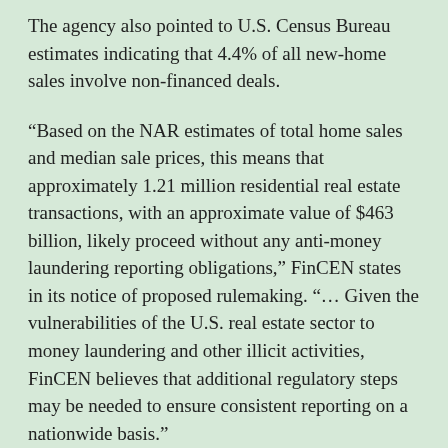The agency also pointed to U.S. Census Bureau estimates indicating that 4.4% of all new-home sales involve non-financed deals.
“Based on the NAR estimates of total home sales and median sale prices, this means that approximately 1.21 million residential real estate transactions, with an approximate value of $463 billion, likely proceed without any anti-money laundering reporting obligations,” FinCEN states in its notice of proposed rulemaking. “… Given the vulnerabilities of the U.S. real estate sector to money laundering and other illicit activities, FinCEN believes that additional regulatory steps may be needed to ensure consistent reporting on a nationwide basis.”
Casseres said implementing anti-money laundering program will be “a significant hurdle for newly